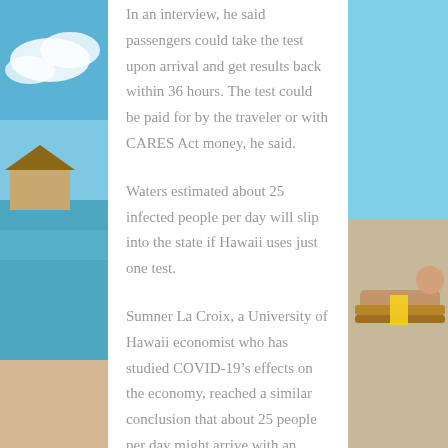[Figure (photo): Beach/tropical resort scene visible on left and right sides behind a white content panel; turquoise water, sandy beach, blue sky with clouds visible on left side, and a person relaxing on a lounge chair visible on the right side.]
In an interview, he said passengers could take the test upon arrival and get results back within 36 hours. The test could be paid for by the traveler or with CARES Act money, he said.
Waters estimated about 25 infected people per day will slip into the state if Hawaii uses just one test.
Sumner La Croix, a University of Hawaii economist who has studied COVID-19’s effects on the economy, reached a similar conclusion that about 25 people per day might arrive with an infection undetected. But he said that assumes thousands of visitors resume coming to Hawaii.